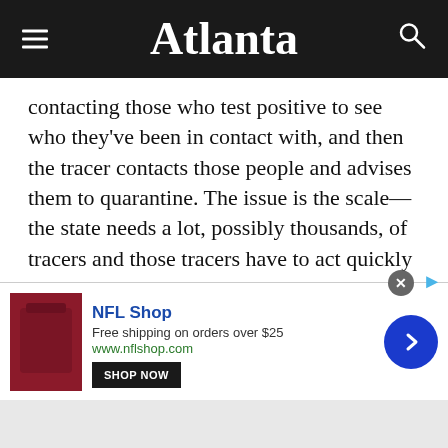Atlanta
contacting those who test positive to see who they've been in contact with, and then the tracer contacts those people and advises them to quarantine. The issue is the scale—the state needs a lot, possibly thousands, of tracers and those tracers have to act quickly to help control the spread. [AJC]
• The Atlanta Symphony Orchestra has canceled the rest of its season, which as originally set to end June
[Figure (screenshot): NFL Shop advertisement banner with red jersey image, shop now button, free shipping offer, and blue arrow navigation button]